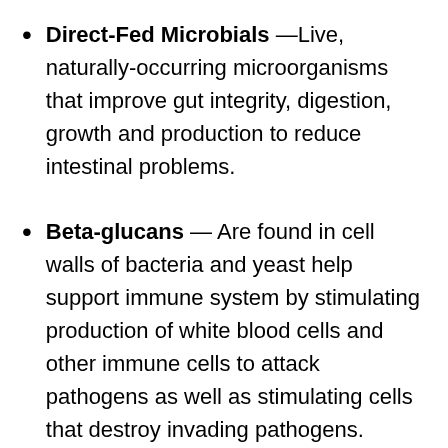Direct-Fed Microbials —Live, naturally-occurring microorganisms that improve gut integrity, digestion, growth and production to reduce intestinal problems.
Beta-glucans — Are found in cell walls of bacteria and yeast help support immune system by stimulating production of white blood cells and other immune cells to attack pathogens as well as stimulating cells that destroy invading pathogens. Feeds good